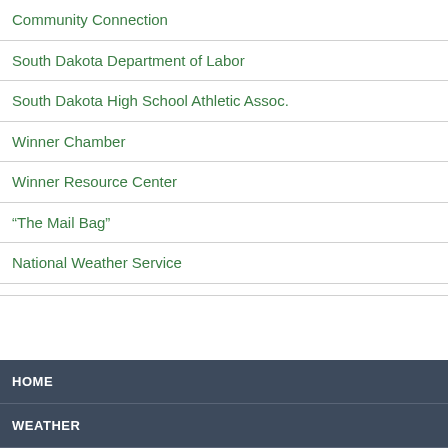Community Connection
South Dakota Department of Labor
South Dakota High School Athletic Assoc.
Winner Chamber
Winner Resource Center
“The Mail Bag”
National Weather Service
HOME
WEATHER